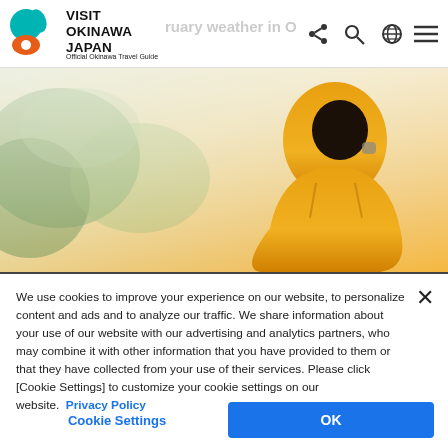VISIT OKINAWA JAPAN — Official Okinawa Travel Guide
[Figure (photo): Person wearing yellow hoodie viewed from behind, standing in front of blurred green foliage with hazy sunlight]
We use cookies to improve your experience on our website, to personalize content and ads and to analyze our traffic. We share information about your use of our website with our advertising and analytics partners, who may combine it with other information that you have provided to them or that they have collected from your use of their services. Please click [Cookie Settings] to customize your cookie settings on our website.  Privacy Policy
Cookie Settings | OK